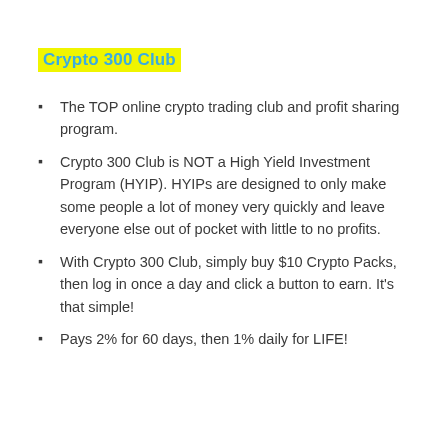Crypto 300 Club
The TOP online crypto trading club and profit sharing program.
Crypto 300 Club is NOT a High Yield Investment Program (HYIP). HYIPs are designed to only make some people a lot of money very quickly and leave everyone else out of pocket with little to no profits.
With Crypto 300 Club, simply buy $10 Crypto Packs, then log in once a day and click a button to earn. It's that simple!
Pays 2% for 60 days, then 1% daily for LIFE!